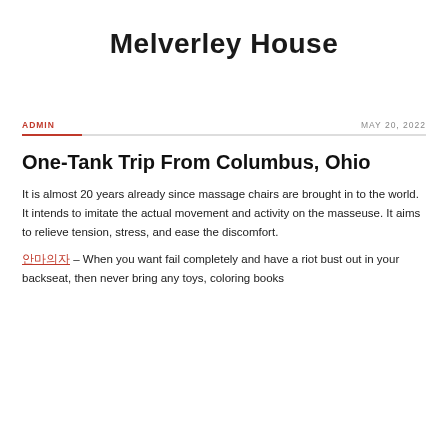Melverley House
ADMIN
MAY 20, 2022
One-Tank Trip From Columbus, Ohio
It is almost 20 years already since massage chairs are brought in to the world. It intends to imitate the actual movement and activity on the masseuse. It aims to relieve tension, stress, and ease the discomfort.
안마의자 – When you want fail completely and have a riot bust out in your backseat, then never bring any toys, coloring books